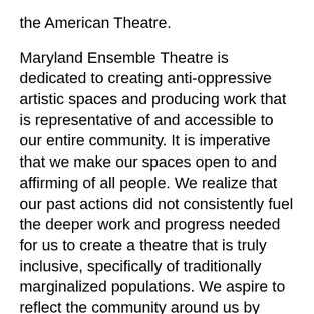the American Theatre.
Maryland Ensemble Theatre is dedicated to creating anti-oppressive artistic spaces and producing work that is representative of and accessible to our entire community. It is imperative that we make our spaces open to and affirming of all people. We realize that our past actions did not consistently fuel the deeper work and progress needed for us to create a theatre that is truly inclusive, specifically of traditionally marginalized populations. We aspire to reflect the community around us by fostering and maintaining diversity, equity, and inclusion. Our efforts must be continuous, intentional and evolving.
ABOUT MET:
Our ensemble of 40 actors, directors, writers,